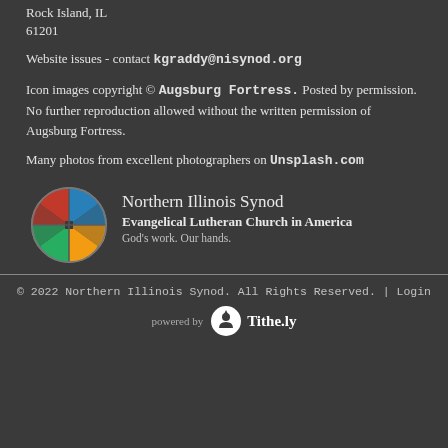Rock Island, IL
61201
Website issues - contact kgraddy@nisynod.org
Icon images copyright © Augsburg Fortress. Posted by permission. No further reproduction allowed without the written permission of Augsburg Fortress.
Many photos from excellent photographers on Unsplash.com
[Figure (logo): Northern Illinois Synod ELCA globe logo with colorful cross sections]
Northern Illinois Synod
Evangelical Lutheran Church in America
God's work. Our hands.
© 2022 Northern Illinois Synod. All Rights Reserved. | Login
[Figure (logo): Tithe.ly powered by badge with circular icon]